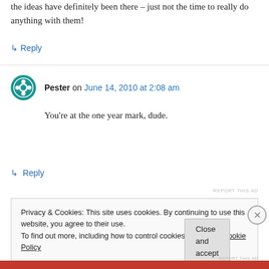the ideas have definitely been there – just not the time to really do anything with them!
↳ Reply
Pester on June 14, 2010 at 2:08 am
You're at the one year mark, dude.
↳ Reply
REPORT THIS AD
Privacy & Cookies: This site uses cookies. By continuing to use this website, you agree to their use.
To find out more, including how to control cookies, see here: Cookie Policy
Close and accept